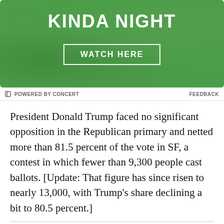[Figure (other): Green textured advertisement banner with text 'KINDA NIGHT' and a 'WATCH HERE' button outlined in white, on a green marbled/textured background.]
POWERED BY CONCERT   FEEDBACK
President Donald Trump faced no significant opposition in the Republican primary and netted more than 81.5 percent of the vote in SF, a contest in which fewer than 9,300 people cast ballots. [Update: That figure has since risen to nearly 13,000, with Trump’s share declining a bit to 80.5 percent.]
[Figure (logo): Curbed San Francisco logo — 'CURBED' text in a rounded-corner rectangle box above 'SAN FRANCISCO' in small caps lettering.]